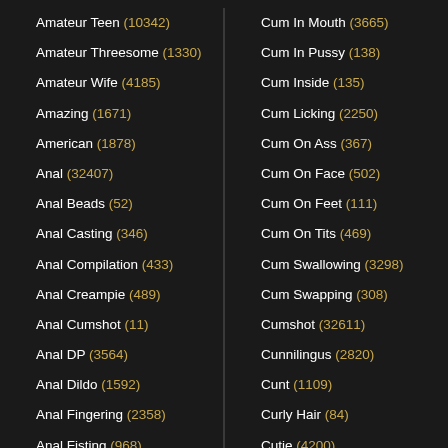Amateur Teen (10342)
Amateur Threesome (1330)
Amateur Wife (4185)
Amazing (1671)
American (1878)
Anal (32407)
Anal Beads (52)
Anal Casting (346)
Anal Compilation (433)
Anal Creampie (489)
Anal Cumshot (11)
Anal DP (3564)
Anal Dildo (1592)
Anal Fingering (2358)
Anal Fisting (968)
Anal Gaping (270)
Cum In Mouth (3665)
Cum In Pussy (138)
Cum Inside (135)
Cum Licking (2250)
Cum On Ass (367)
Cum On Face (502)
Cum On Feet (111)
Cum On Tits (469)
Cum Swallowing (3298)
Cum Swapping (308)
Cumshot (32611)
Cunnilingus (2820)
Cunt (1109)
Curly Hair (84)
Cutie (4200)
Czech (1000)